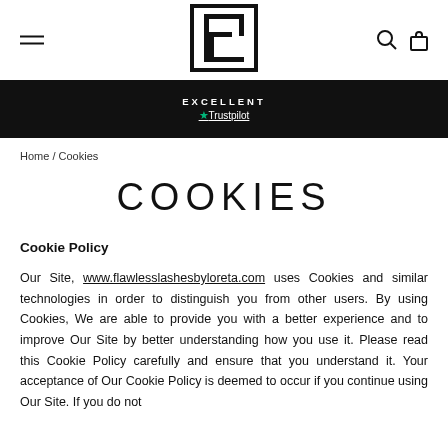[Figure (logo): Flawless Lashes by Loreta logo — stylized F letter in a square border]
EXCELLENT ★Trustpilot
Home / Cookies
COOKIES
Cookie Policy
Our Site, www.flawlesslashesbyloreta.com uses Cookies and similar technologies in order to distinguish you from other users. By using Cookies, We are able to provide you with a better experience and to improve Our Site by better understanding how you use it. Please read this Cookie Policy carefully and ensure that you understand it. Your acceptance of Our Cookie Policy is deemed to occur if you continue using Our Site. If you do not